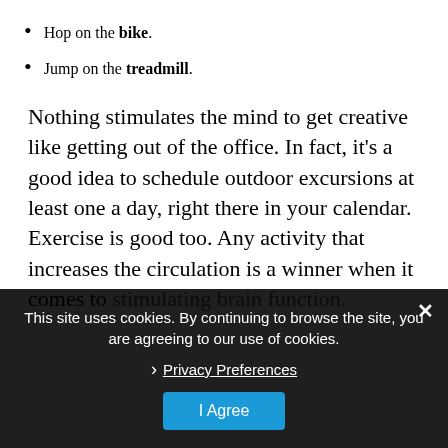Hop on the bike.
Jump on the treadmill.
Nothing stimulates the mind to get creative like getting out of the office. In fact, it's a good idea to schedule outdoor excursions at least one a day, right there in your calendar. Exercise is good too. Any activity that increases the circulation is a winner when it comes to stimulating brain function.
This site uses cookies. By continuing to browse the site, you are agreeing to our use of cookies.
Privacy Preferences
I Agree